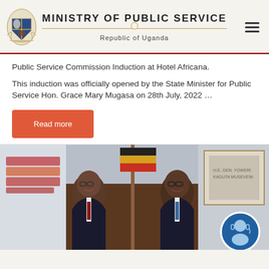MINISTRY OF PUBLIC SERVICE — Republic of Uganda
Public Service Commission Induction at Hotel Africana.
This induction was officially opened by the State Minister for Public Service Hon. Grace Mary Mugasa on 28th July, 2022 …
Read more
[Figure (photo): Two men in suits smiling, shaking hands or posing together in an office setting with a Ugandan flag in the background. A customer support bubble icon appears in the bottom right corner.]